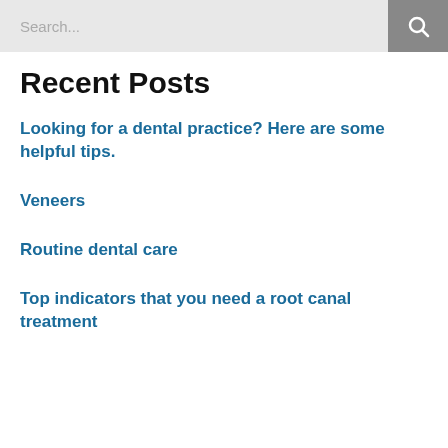Search...
Recent Posts
Looking for a dental practice? Here are some helpful tips.
Veneers
Routine dental care
Top indicators that you need a root canal treatment